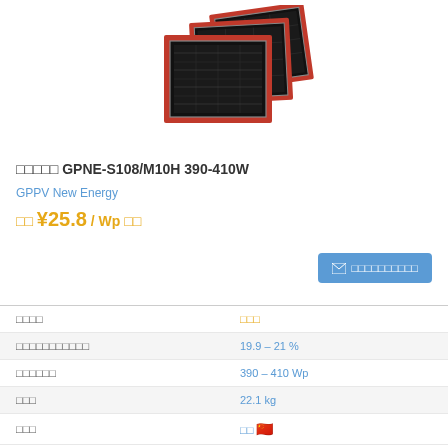[Figure (photo): Product image showing stacked solar panels with dark cells and red accents/borders]
□□□□□ GPNE-S108/M10H 390-410W
GPPV New Energy
□□ ¥25.8 / Wp □□
□□□□□□□□□□ (contact button)
| Property | Value |
| --- | --- |
| □□□□ | □□□ |
| □□□□□□□□□□□ | 19.9 – 21 % |
| □□□□□□ | 390 – 410 Wp |
| □□□ | 22.1 kg |
| □□□ | □□ 🇨🇳 |